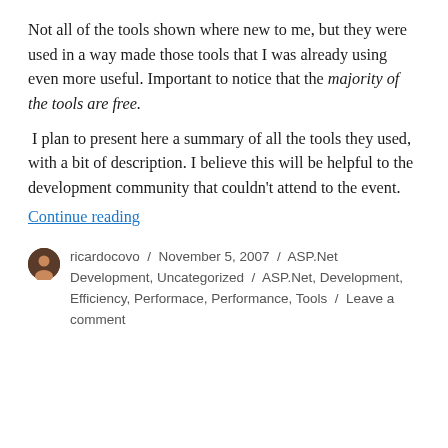Not all of the tools shown where new to me, but they were used in a way made those tools that I was already using even more useful. Important to notice that the majority of the tools are free.
I plan to present here a summary of all the tools they used, with a bit of description. I believe this will be helpful to the development community that couldn't attend to the event.
Continue reading
ricardocovo / November 5, 2007 / ASP.Net Development, Uncategorized / ASP.Net, Development, Efficiency, Performace, Performance, Tools / Leave a comment